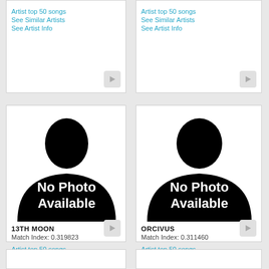[Figure (illustration): Partial top-left artist card showing links: Artist top 50 songs, See Similar Artists, See Artist Info with play button]
[Figure (illustration): Partial top-right artist card showing links: Artist top 50 songs, See Similar Artists, See Artist Info with play button]
[Figure (photo): No Photo Available silhouette image for 13TH MOON]
13TH MOON
Match Index: 0.319823
Artist top 50 songs
See Similar Artists
See Artist Info
[Figure (photo): No Photo Available silhouette image for ORCIVUS]
ORCIVUS
Match Index: 0.311460
Artist top 50 songs
See Similar Artists
See Artist Info